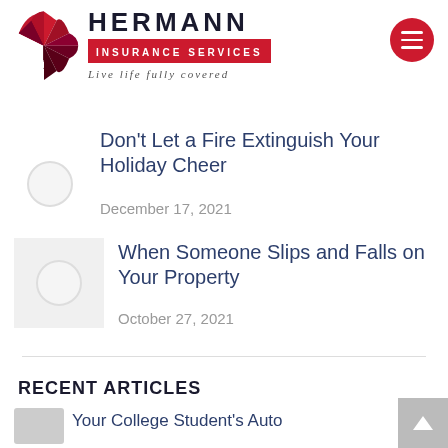Hermann Insurance Services – Live life fully covered
Don't Let a Fire Extinguish Your Holiday Cheer
December 17, 2021
When Someone Slips and Falls on Your Property
October 27, 2021
RECENT ARTICLES
Your College Student's Auto